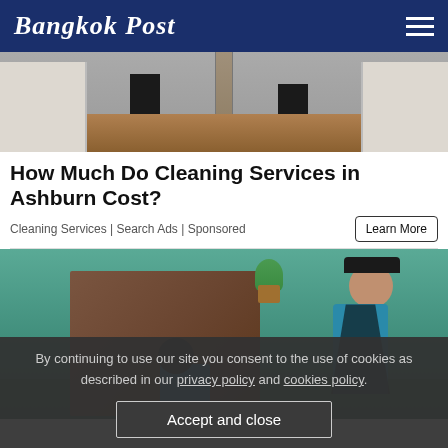Bangkok Post
[Figure (photo): Top cropped photo showing feet of two people standing on hardwood floor with white cabinet doors visible]
How Much Do Cleaning Services in Ashburn Cost?
Cleaning Services | Search Ads | Sponsored
[Figure (photo): Two officers in blue shirts and dark tactical vests and caps, wearing masks, inspecting an area near a brown barrier/panel against a teal painted wall with a potted plant on top]
By continuing to use our site you consent to the use of cookies as described in our privacy policy and cookies policy.
Accept and close